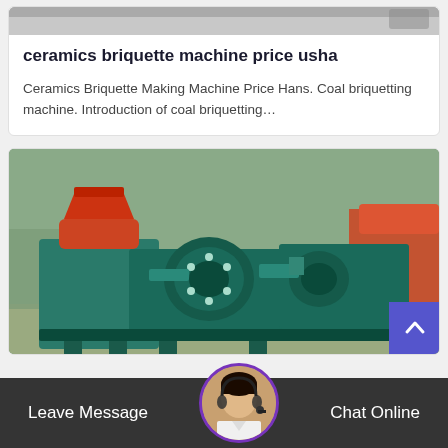[Figure (photo): Partial top image of industrial machinery, cropped at top]
ceramics briquette machine price usha
Ceramics Briquette Making Machine Price Hans. Coal briquetting machine. Introduction of coal briquetting…
[Figure (photo): Green industrial briquette/coal press machine with red hopper on top, heavy equipment outdoors]
Leave Message   Chat Online